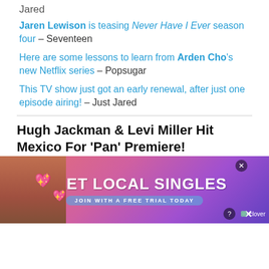Jared
Jaren Lewison is teasing Never Have I Ever season four – Seventeen
Here are some lessons to learn from Arden Cho's new Netflix series – Popsugar
This TV show just got an early renewal, after just one episode airing! – Just Jared
Hugh Jackman & Levi Miller Hit Mexico For 'Pan' Premiere!
[Figure (photo): Photo strip showing Hugh Jackman and other people at the Pan premiere in Mexico, with an advertisement overlay at the bottom reading MEET LOCAL SINGLES]